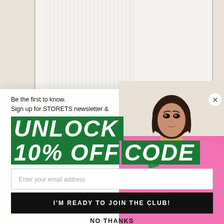[Figure (photo): Background photo showing white pleated fabric/dress on a light beige background, cropped at legs/lower body]
[Figure (photo): A young woman with a short brown bob haircut wearing a bright pink blazer with a small green pocket square, looking directly at the camera]
Be the first to know.
Sign up for STORETS newsletter &
UNLOCK
10% OFF CODE
Enter your email address
I'M READY TO JOIN THE CLUB!
NO THANKS